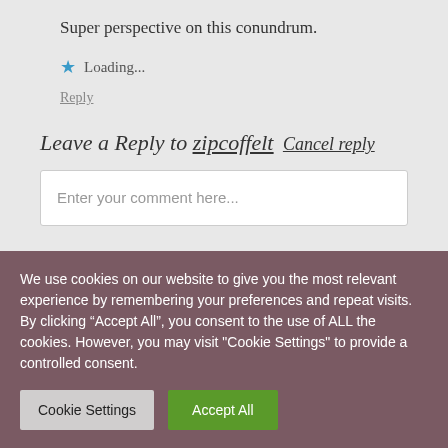Super perspective on this conundrum.
Loading...
Reply
Leave a Reply to zipcoffelt Cancel reply
Enter your comment here...
We use cookies on our website to give you the most relevant experience by remembering your preferences and repeat visits. By clicking “Accept All”, you consent to the use of ALL the cookies. However, you may visit "Cookie Settings" to provide a controlled consent.
Cookie Settings
Accept All